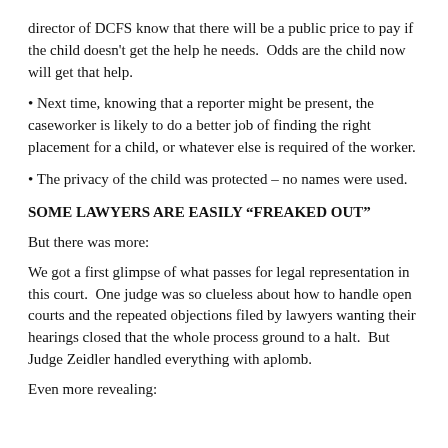director of DCFS know that there will be a public price to pay if the child doesn't get the help he needs.  Odds are the child now will get that help.
Next time, knowing that a reporter might be present, the caseworker is likely to do a better job of finding the right placement for a child, or whatever else is required of the worker.
The privacy of the child was protected – no names were used.
SOME LAWYERS ARE EASILY “FREAKED OUT”
But there was more:
We got a first glimpse of what passes for legal representation in this court.  One judge was so clueless about how to handle open courts and the repeated objections filed by lawyers wanting their hearings closed that the whole process ground to a halt.  But Judge Zeidler handled everything with aplomb.
Even more revealing: